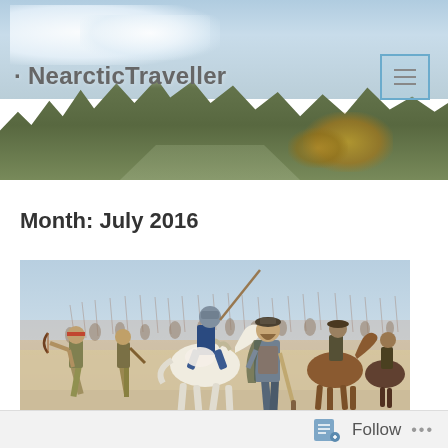NearcticTraveller
Month: July 2016
[Figure (photo): Historical painting depicting a scene with Spanish conquistadors on horseback and Native American figures on foot in an arid, desert-like landscape with spears and weapons visible]
Follow ...